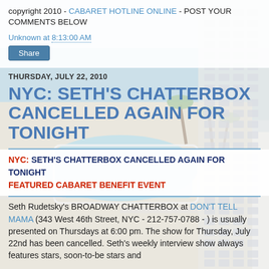copyright 2010 - CABARET HOTLINE ONLINE - POST YOUR COMMENTS BELOW
Unknown at 8:13:00 AM
Share
[Figure (photo): Aerial view of a hotel pool area with palm trees, beach, and a high-rise building with a grid-pattern facade on the right]
THURSDAY, JULY 22, 2010
NYC: SETH'S CHATTERBOX CANCELLED AGAIN FOR TONIGHT
NYC: SETH'S CHATTERBOX CANCELLED AGAIN FOR TONIGHT
FEATURED CABARET BENEFIT EVENT
Seth Rudetsky's BROADWAY CHATTERBOX at DON'T TELL MAMA (343 West 46th Street, NYC - 212-757-0788 - ) is usually presented on Thursdays at 6:00 pm. The show for Thursday, July 22nd has been cancelled. Seth's weekly interview show always features stars, soon-to-be stars and